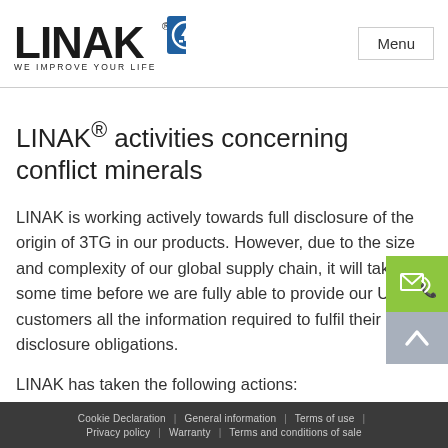LINAK® WE IMPROVE YOUR LIFE | Menu
LINAK® activities concerning conflict minerals
LINAK is working actively towards full disclosure of the origin of 3TG in our products. However, due to the size and complexity of our global supply chain, it will take some time before we are fully able to provide our US customers all the information required to fulfil their disclosure obligations.
LINAK has taken the following actions:
Cookie Declaration | General information | Terms of use | Privacy policy | Warranty | Terms and conditions of sale